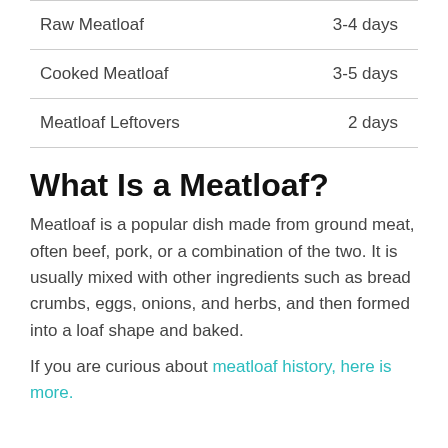| Raw Meatloaf | 3-4 days |
| Cooked Meatloaf | 3-5 days |
| Meatloaf Leftovers | 2 days |
What Is a Meatloaf?
Meatloaf is a popular dish made from ground meat, often beef, pork, or a combination of the two. It is usually mixed with other ingredients such as bread crumbs, eggs, onions, and herbs, and then formed into a loaf shape and baked.
If you are curious about meatloaf history, here is more.